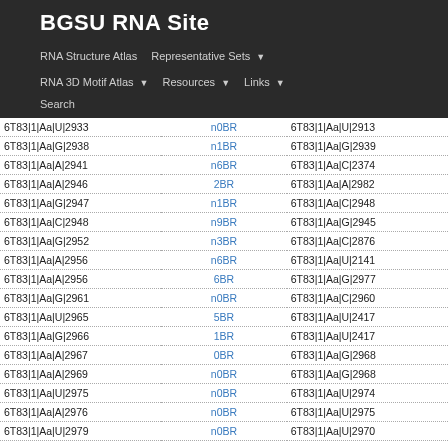BGSU RNA Site
RNA Structure Atlas | Representative Sets ▼ | RNA 3D Motif Atlas ▼ | Resources ▼ | Links ▼ | Search
| Column1 | Column2 | Column3 |
| --- | --- | --- |
| 6T83|1|Aa|U|2933 | n0BR | 6T83|1|Aa|U|2913 |
| 6T83|1|Aa|G|2938 | n1BR | 6T83|1|Aa|G|2939 |
| 6T83|1|Aa|A|2941 | n6BR | 6T83|1|Aa|C|2374 |
| 6T83|1|Aa|A|2946 | 2BR | 6T83|1|Aa|A|2982 |
| 6T83|1|Aa|G|2947 | n1BR | 6T83|1|Aa|C|2948 |
| 6T83|1|Aa|C|2948 | n9BR | 6T83|1|Aa|G|2945 |
| 6T83|1|Aa|G|2952 | n3BR | 6T83|1|Aa|C|2876 |
| 6T83|1|Aa|A|2956 | n6BR | 6T83|1|Aa|U|2141 |
| 6T83|1|Aa|A|2956 | 6BR | 6T83|1|Aa|G|2977 |
| 6T83|1|Aa|G|2961 | n0BR | 6T83|1|Aa|C|2960 |
| 6T83|1|Aa|U|2965 | 5BR | 6T83|1|Aa|U|2417 |
| 6T83|1|Aa|G|2966 | 1BR | 6T83|1|Aa|U|2417 |
| 6T83|1|Aa|A|2967 | 0BR | 6T83|1|Aa|G|2968 |
| 6T83|1|Aa|A|2969 | n0BR | 6T83|1|Aa|G|2968 |
| 6T83|1|Aa|U|2975 | n0BR | 6T83|1|Aa|U|2974 |
| 6T83|1|Aa|A|2976 | n0BR | 6T83|1|Aa|U|2975 |
| 6T83|1|Aa|U|2979 | n0BR | 6T83|1|Aa|U|2970 |